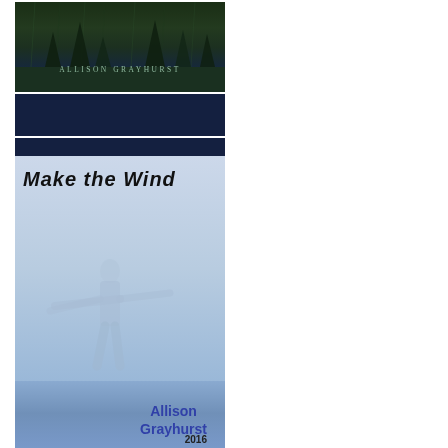[Figure (illustration): Book cover for 'Make the Wind' by Allison Grayhurst. Top portion shows dark forest/tree background with 'ALLISON GRAYHURST' in small green-tinted letters. Below that are dark navy blue bands separated by white lines. Main section shows light blue gradient background with bold italic title 'Make the Wind' and a faint silhouette figure of a person with arms outstretched. Lower portion in medium blue shows 'Allison Grayhurst' in bold purple letters, '2016 CHAPBOOK' below, and 'SCARS PUBLICATIONS' (partially mirrored/reversed) at the bottom. The right half of the page is white/blank.]